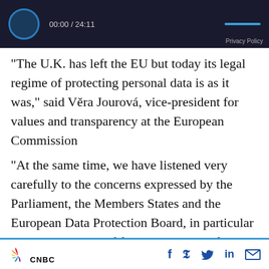[Figure (screenshot): Video player bar showing 00:00 / 24:11 timestamp with circular icon and blue progress bar, Privacy Policy label]
“The U.K. has left the EU but today its legal regime of protecting personal data is as it was,” said Věra Jourová, vice-president for values and transparency at the European Commission
“At the same time, we have listened very carefully to the concerns expressed by the Parliament, the Members States and the European Data Protection Board, in particular on the possibility of future divergence from our standards in the U.K.’s privacy framework,” she added.
CNBC logo with social media icons: Facebook, Twitter, LinkedIn, Email